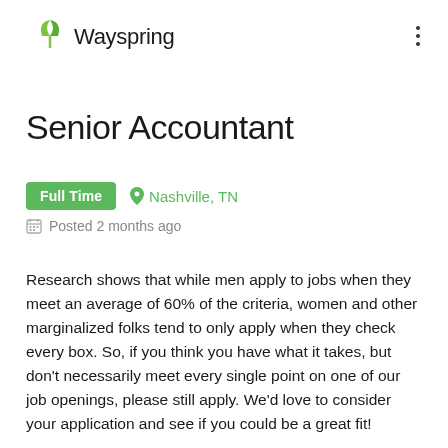Wayspring
Senior Accountant
Full Time   Nashville, TN   Posted 2 months ago
Research shows that while men apply to jobs when they meet an average of 60% of the criteria, women and other marginalized folks tend to only apply when they check every box. So, if you think you have what it takes, but don't necessarily meet every single point on one of our job openings, please still apply. We'd love to consider your application and see if you could be a great fit!